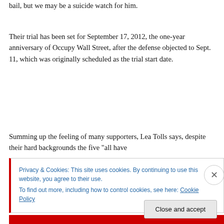bail, but we may be a suicide watch for him.
Their trial has been set for September 17, 2012, the one-year anniversary of Occupy Wall Street, after the defense objected to Sept. 11, which was originally scheduled as the trial start date.
Summing up the feeling of many supporters, Lea Tolls says, despite their hard backgrounds the five “all have
Privacy & Cookies: This site uses cookies. By continuing to use this website, you agree to their use.
To find out more, including how to control cookies, see here: Cookie Policy
Close and accept